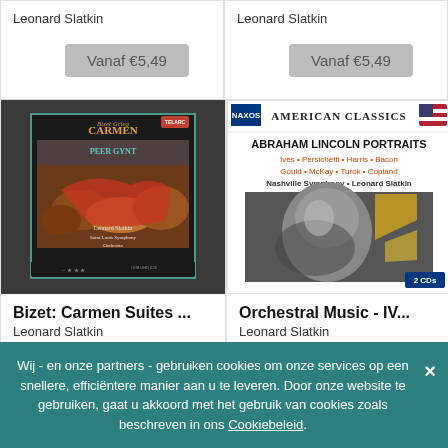Leonard Slatkin
Vanaf €5,49
Leonard Slatkin
Vanaf €5,49
[Figure (photo): Album cover: Bizet-Grieg Carmen Peer Gynt, Leonard Slatkin, Saint Louis Symphony Orchestra, Telarc label]
[Figure (photo): Album cover: Abraham Lincoln Portraits, American Classics (Naxos), Nashville Symphony, Leonard Slatkin, 2 CDs]
Bizet: Carmen Suites ...
Leonard Slatkin
Orchestral Music - IV...
Leonard Slatkin
Wij - en onze partners - gebruiken cookies om onze services op een snellere, efficiëntere manier aan u te leveren. Door onze website te gebruiken, gaat u akkoord met het gebruik van cookies zoals beschreven in ons Cookiebeleid.